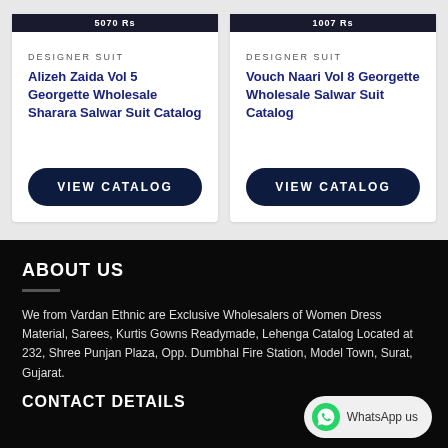DESIGNER SUIT
Alizeh Zaida Vol 5 Georgette Wholesale Sharara Salwar Suit Catalog
VIEW CATALOG
DESIGNER SUIT
Vouch Naari Vol 8 Georgette Wholesale Salwar Suit Catalog
VIEW CATALOG
ABOUT US
We from Vardan Ethnic are Exclusive Wholesalers of Women Dress Material, Sarees, Kurtis Gowns Readymade, Lehenga Catalog Located at 232, Shree Punjan Plaza, Opp. Dumbhal Fire Station, Model Town, Surat, Gujarat.
CONTACT DETAILS